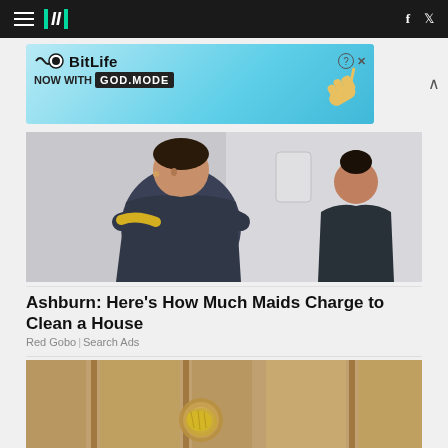HuffPost navigation bar with hamburger menu, logo, Facebook and Twitter icons
[Figure (screenshot): BitLife advertisement banner: NOW WITH GOD MODE, cyan/teal background with pointing hand graphic]
[Figure (photo): Two cleaning maids in dark blue scrubs and yellow rubber gloves in a bathroom setting]
Ashburn: Here's How Much Maids Charge to Clean a House
Red Gobo | Search Ads
[Figure (photo): Close-up of a gold/bronze door knob with foil wrapped around it]